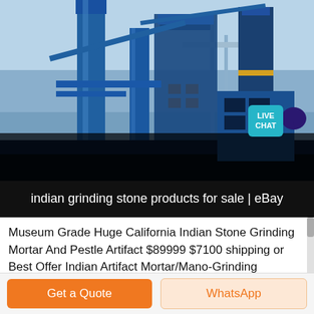[Figure (photo): Industrial plant/factory with large blue metal structures, pipes, conveyor systems and scaffolding against a light blue sky. A teal 'LIVE CHAT' speech bubble badge is overlaid in the upper right area.]
indian grinding stone products for sale | eBay
Museum Grade Huge California Indian Stone Grinding Mortar And Pestle Artifact $89999 $7100 shipping or Best Offer Indian Artifact Mortar/Mano-Grinding Bowl/Stone JZ-0690 $13995 $1800 shipping or Best Offer 100 % Authentic Primitive American Indian Grinding Stone ,
Get a Quote
WhatsApp